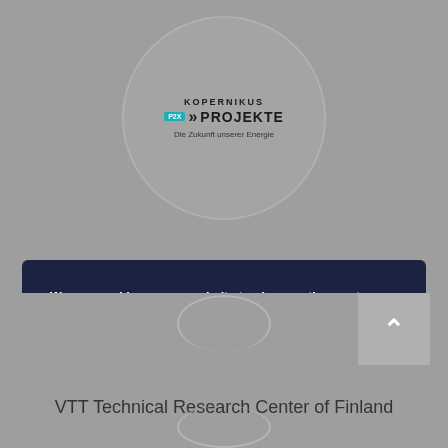[Figure (logo): Kopernikus Projekte P2X logo with circular border and tagline 'Die Zukunft unserer Energie']
We use cookies on our website to give you the most relevant experience by remembering your preferences and repeat visits. By clicking "Accept", you consent to the use of ALL the cookies.
Do not sell my personal information.
Settings    Akzeptieren
VTT Technical Research Center of Finland